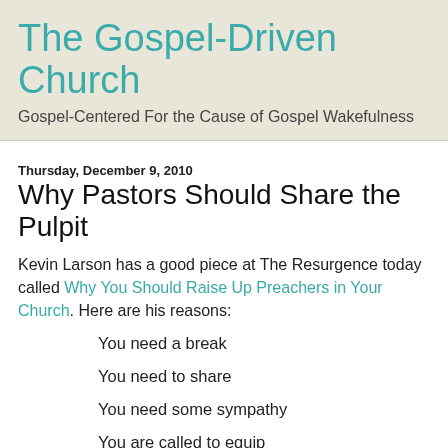The Gospel-Driven Church
Gospel-Centered For the Cause of Gospel Wakefulness
Thursday, December 9, 2010
Why Pastors Should Share the Pulpit
Kevin Larson has a good piece at The Resurgence today called Why You Should Raise Up Preachers in Your Church. Here are his reasons:
You need a break
You need to share
You need some sympathy
You are called to equip